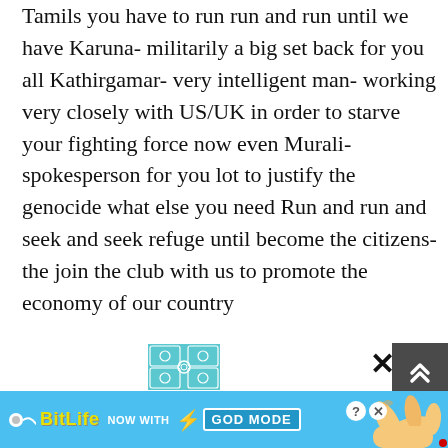Tamils you have to run run and run until we have
Karuna- militarily a big set back for you all
Kathirgamar- very intelligent man- working very closely with US/UK in order to starve your fighting force
now even Murali- spokesperson for you lot to justify the genocide
what else you need
Run and run and seek and seek refuge until become the citizens- the join the club with us to promote the economy of our country
[Figure (screenshot): Advertisement banner for BitLife game with pattern tile, close button, scroll button, and 'NOW WITH GOD MODE' text on blue background with hand illustration]